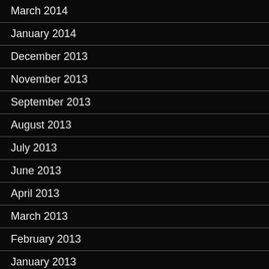March 2014
January 2014
December 2013
November 2013
September 2013
August 2013
July 2013
June 2013
April 2013
March 2013
February 2013
January 2013
December 2012